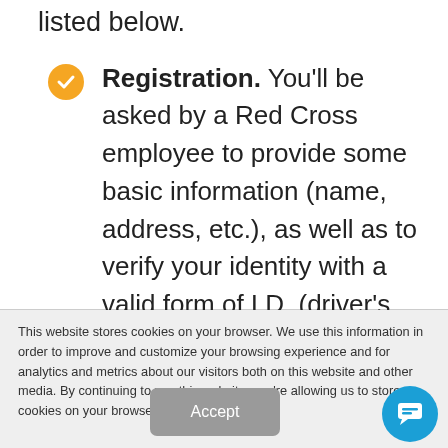listed below.
Registration. You'll be asked by a Red Cross employee to provide some basic information (name, address, etc.), as well as to verify your identity with a valid form of I.D. (driver's license, passport,
This website stores cookies on your browser. We use this information in order to improve and customize your browsing experience and for analytics and metrics about our visitors both on this website and other media. By continuing to use this website, you're allowing us to store cookies on your browser.
Accept